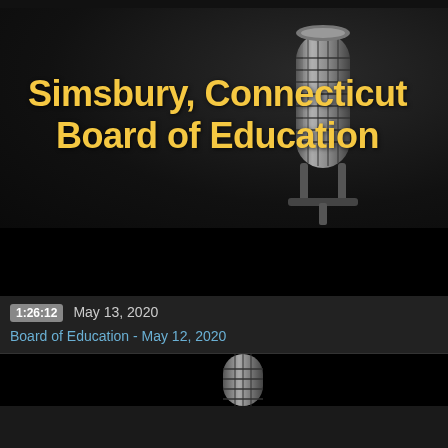[Figure (screenshot): Simsbury Connecticut Board of Education video thumbnail with microphone image and gold title text on dark background]
Simsbury, Connecticut Board of Education
[Figure (screenshot): Black video player thumbnail area]
1:26:12   May 13, 2020
Board of Education - May 12, 2020
[Figure (screenshot): Second black video player thumbnail area with partial microphone image at bottom]